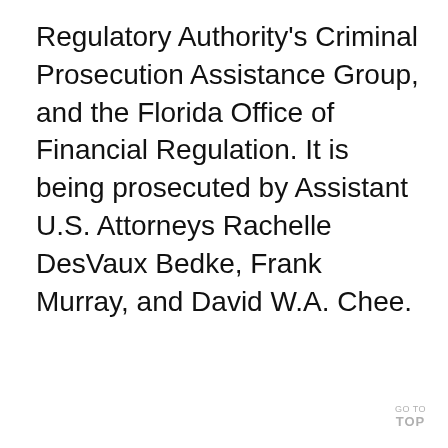Regulatory Authority's Criminal Prosecution Assistance Group, and the Florida Office of Financial Regulation. It is being prosecuted by Assistant U.S. Attorneys Rachelle DesVaux Bedke, Frank Murray, and David W.A. Chee.
GO TO TOP